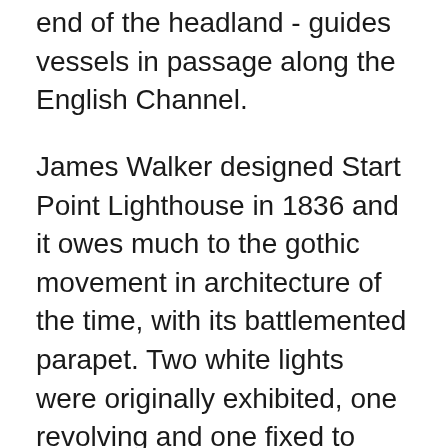end of the headland - guides vessels in passage along the English Channel.
James Walker designed Start Point Lighthouse in 1836 and it owes much to the gothic movement in architecture of the time, with its battlemented parapet. Two white lights were originally exhibited, one revolving and one fixed to mark the Skerries Bank; a fixed red subsidiary light still marks this hazard. The optic used was the first of its kind used by Trinity House.
Even so, the light was found to be inadequate in fog and a bell was installed in the 1860s; the machinery was housed in a small building on the cliff face and operated by a weight which fell in a